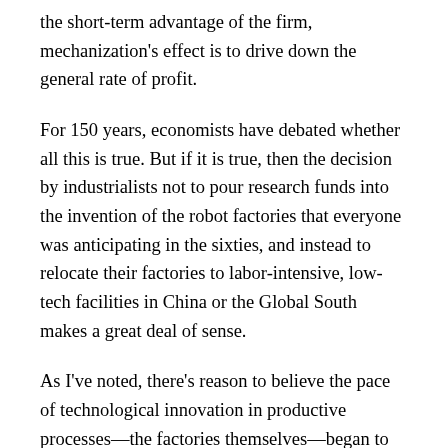the short-term advantage of the firm, mechanization's effect is to drive down the general rate of profit.
For 150 years, economists have debated whether all this is true. But if it is true, then the decision by industrialists not to pour research funds into the invention of the robot factories that everyone was anticipating in the sixties, and instead to relocate their factories to labor-intensive, low-tech facilities in China or the Global South makes a great deal of sense.
As I've noted, there's reason to believe the pace of technological innovation in productive processes—the factories themselves—began to slow in the fifties and sixties, but the side effects of America's rivalry with the Soviet Union made innovation appear to accelerate. There was the awesome space race, alongside frenetic efforts by U.S. industrial planners to apply existing